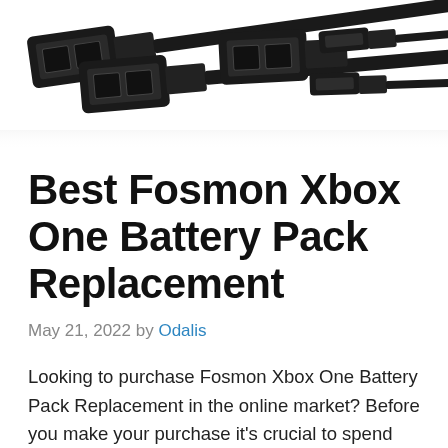[Figure (photo): Multiple black USB cables with micro USB connectors arranged diagonally, photographed on white background, partial crop showing the connector ends from above.]
Best Fosmon Xbox One Battery Pack Replacement
May 21, 2022 by Odalis
Looking to purchase Fosmon Xbox One Battery Pack Replacement in the online market? Before you make your purchase it's crucial to spend your time researching the